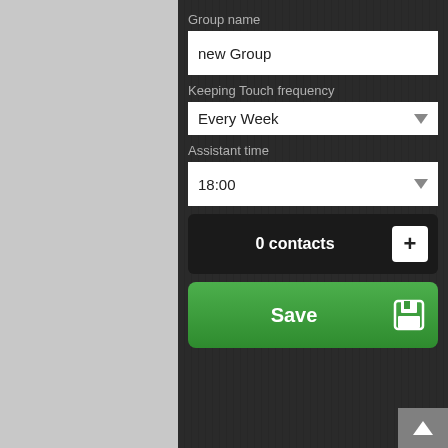Group name
new Group
Keeping Touch frequency
Every Week
Assistant time
18:00
0 contacts
Save